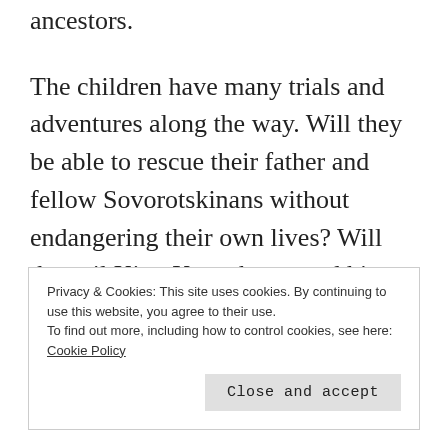ancestors.
The children have many trials and adventures along the way. Will they be able to rescue their father and fellow Sovorotskinans without endangering their own lives? Will the evil King Kaposkaran and his Queen Beregina stop Serena and her siblings from being successful or will
Privacy & Cookies: This site uses cookies. By continuing to use this website, you agree to their use.
To find out more, including how to control cookies, see here:
Cookie Policy
Close and accept